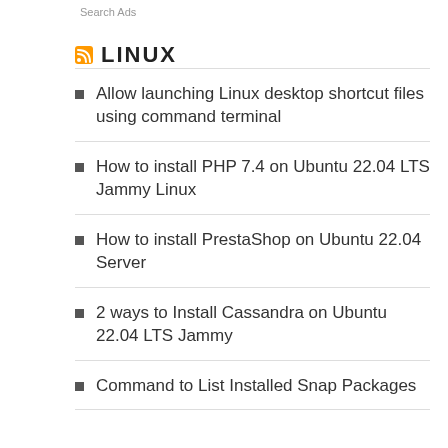Search Ads
LINUX
Allow launching Linux desktop shortcut files using command terminal
How to install PHP 7.4 on Ubuntu 22.04 LTS Jammy Linux
How to install PrestaShop on Ubuntu 22.04 Server
2 ways to Install Cassandra on Ubuntu 22.04 LTS Jammy
Command to List Installed Snap Packages